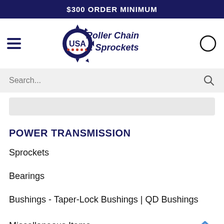$300 ORDER MINIMUM
[Figure (logo): USA Roller Chain & Sprockets logo with gear icon]
Search...
POWER TRANSMISSION
Sprockets
Bearings
Bushings - Taper-Lock Bushings | QD Bushings
Miscellaneous Items
Shafting